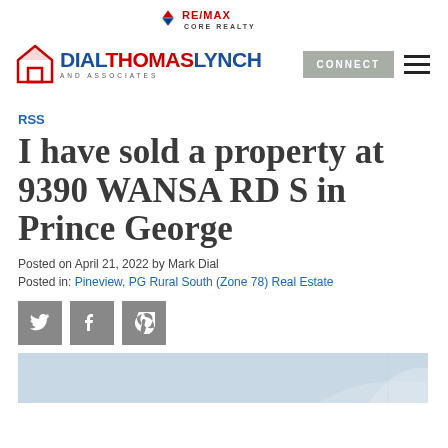[Figure (logo): RE/MAX Core Realty logo with diamond icon and text]
[Figure (logo): Dial Thomas Lynch and Associates logo with house icon, CONNECT button, and hamburger menu]
RSS
I have sold a property at 9390 WANSA RD S in Prince George
Posted on April 21, 2022 by Mark Dial
Posted in: Pineview, PG Rural South (Zone 78) Real Estate
[Figure (infographic): Social sharing icons: Twitter, Facebook, Pinterest]
[Figure (photo): Property photo partially visible at bottom of page]